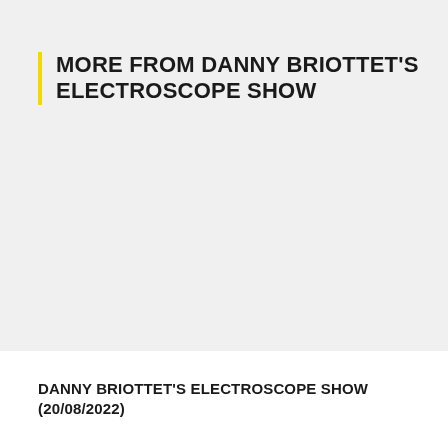MORE FROM DANNY BRIOTTET'S ELECTROSCOPE SHOW
DANNY BRIOTTET'S ELECTROSCOPE SHOW (20/08/2022)